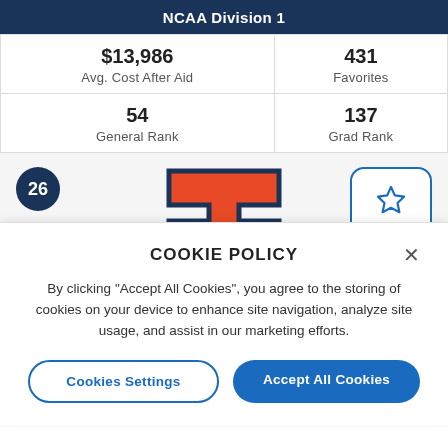| NCAA Division 1 |  |
| --- | --- |
| $13,986
Avg. Cost After Aid | 431
Favorites |
| 54
General Rank | 137
Grad Rank |
[Figure (screenshot): University of Illinois block I logo in orange with dark navy outline, partially shown, with number badge 26 and Favorite button]
[Figure (screenshot): Cookie Policy modal overlay with close button, explanatory text, and two buttons: Cookies Settings and Accept All Cookies]